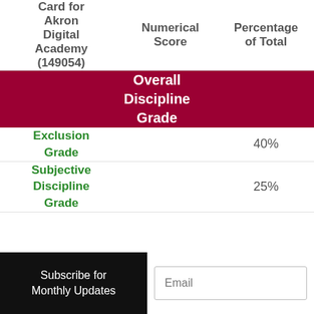| Card for Akron Digital Academy (149054) | Numerical Score | Percentage of Total |
| --- | --- | --- |
| Overall Discipline Grade |  |  |
| Exclusion Grade |  | 40% |
| Subjective Discipline Grade |  | 25% |
Subscribe for Monthly Updates
Email